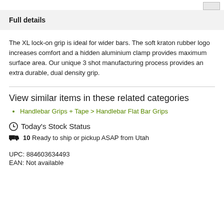Full details
The XL lock-on grip is ideal for wider bars. The soft kraton rubber logo increases comfort and a hidden aluminium clamp provides maximum surface area. Our unique 3 shot manufacturing process provides an extra durable, dual density grip.
View similar items in these related categories
Handlebar Grips + Tape > Handlebar Flat Bar Grips
Today's Stock Status
10 Ready to ship or pickup ASAP from Utah
UPC: 884603634493
EAN: Not available